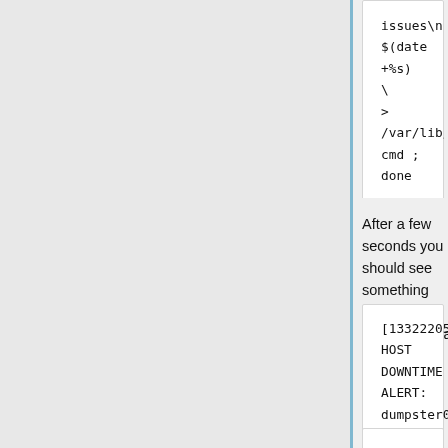issues\n" $(date +%s) \
>
/var/lib/nagios/rw/nagios.cmd ; done
After a few seconds you should see something like this in /var/log/icinga/icinga.log (on icinga1001)
[1332220596] HOST DOWNTIME ALERT: dumpster01;STARTED; Host has entered a period of scheduled downtime
Command Format: SCHEDULE_HOST_DOWNTIME;<host_name>;<start_time>;<end_time>;<fixed>;<trigger_id>;<duration>;<author>;<comment>